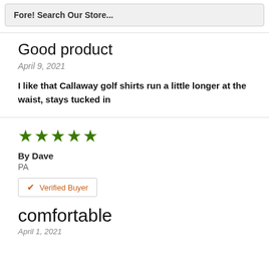Fore! Search Our Store...
Good product
April 9, 2021
I like that Callaway golf shirts run a little longer at the waist, stays tucked in
★★★★★
By Dave
PA
✔ Verified Buyer
comfortable
April 1, 2021